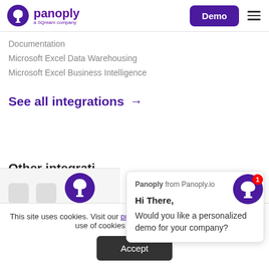panoply — a SQream company | Demo
Documentation
Microsoft Excel Data Warehousing
Microsoft Excel Business Intelligence
See all integrations →
Other integrati…
This site uses cookies. Visit our privacy policy to find out more about our use of cookies and how to opt out.
Accept
Panoply from Panoply.io
Hi There,
Would you like a personalized demo for your company?